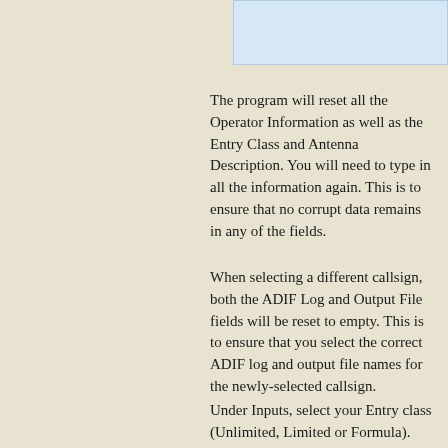[Figure (other): Light blue rectangular box in upper right corner]
The program will reset all the Operator Information as well as the Entry Class and Antenna Description. You will need to type in all the information again. This is to ensure that no corrupt data remains in any of the fields.
When selecting a different callsign, both the ADIF Log and Output File fields will be reset to empty. This is to ensure that you select the correct ADIF log and output file names for the newly-selected callsign.
Under Inputs, select your Entry class (Unlimited, Limited or Formula). Click the ADIF Log button and